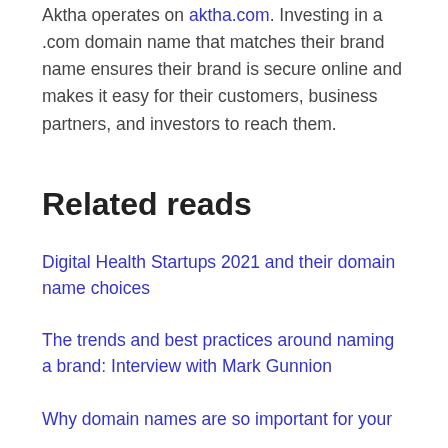Aktha operates on aktha.com. Investing in a .com domain name that matches their brand name ensures their brand is secure online and makes it easy for their customers, business partners, and investors to reach them.
Related reads
Digital Health Startups 2021 and their domain name choices
The trends and best practices around naming a brand: Interview with Mark Gunnion
Why domain names are so important for your